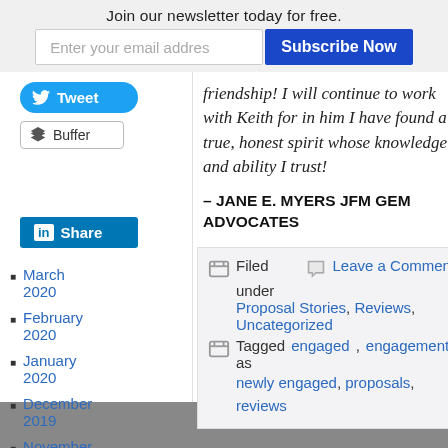Join our newsletter today for free.
Enter your email addres | Subscribe Now
friendship! I will continue to work with Keith for in him I have found a true, honest spirit whose knowledge and ability I trust!
– JANE E. MYERS JFM GEM ADVOCATES
March 2020
February 2020
January 2020
December 2019
November 2019
October
Filed under | Leave a Comment | Proposal Stories, Reviews, Uncategorized | Tagged as engaged, engagement, newly engaged, proposals, reviews